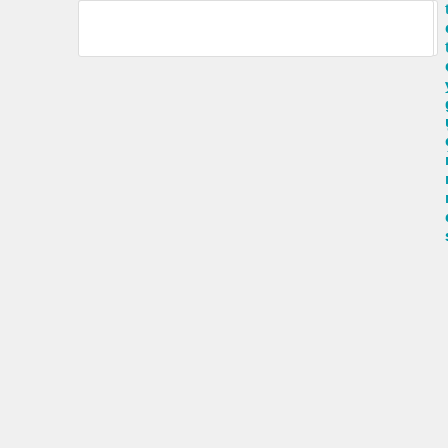[Figure (screenshot): Partial card visible at top of page, white background with border]
teConcentrationsCytologicSupplementalInformation.xlsx
[Figure (screenshot): Open Access Articles card thumbnail with ISU logo, article preview showing Thiobonate concentrations and cytologic findings in synovial fluid after intraosseous regional limb perfusion with Amikacin in horses]
07/26/2017
Public
HunterBarbaraVetMedTiludronateConc...